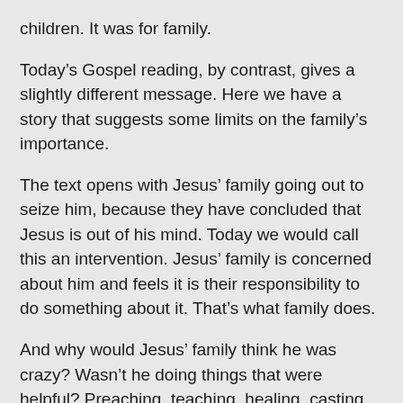children. It was for family.
Today’s Gospel reading, by contrast, gives a slightly different message. Here we have a story that suggests some limits on the family’s importance.
The text opens with Jesus’ family going out to seize him, because they have concluded that Jesus is out of his mind. Today we would call this an intervention. Jesus’ family is concerned about him and feels it is their responsibility to do something about it. That’s what family does.
And why would Jesus’ family think he was crazy? Wasn’t he doing things that were helpful? Preaching, teaching, healing, casting out evil – these were all good things, right?